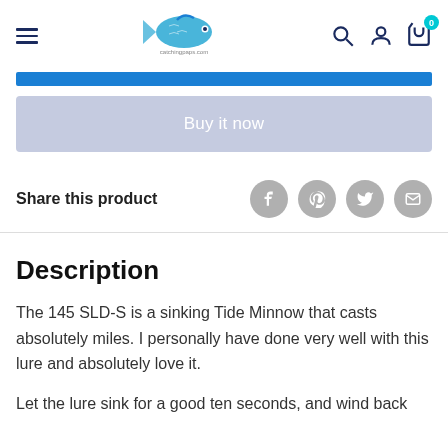[Figure (logo): Fishing website logo with a blue fish illustration and navigation icons including hamburger menu, search, account, and cart with badge 0]
[Figure (other): Solid blue horizontal bar used as a UI element (e.g. progress bar or divider)]
[Figure (other): Light blue-grey 'Buy it now' button]
Share this product
[Figure (other): Social sharing icons: Facebook, Pinterest, Twitter, Email]
Description
The 145 SLD-S is a sinking Tide Minnow that casts absolutely miles. I personally have done very well with this lure and absolutely love it.
Let the lure sink for a good ten seconds, and wind back